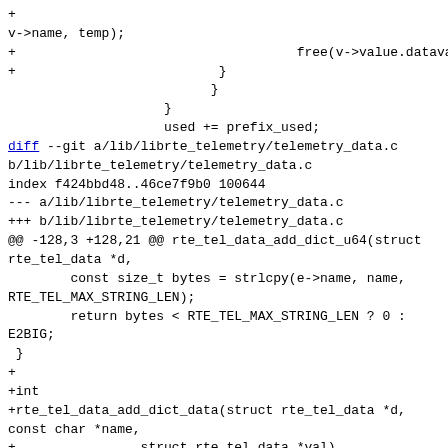+
v->name, temp);
+                                    free(v->value.dataval);
+                          }
                          }
                    }
                    used += prefix_used;
diff --git a/lib/librte_telemetry/telemetry_data.c
b/lib/librte_telemetry/telemetry_data.c
index f424bbd48..46ce7f9b0 100644
--- a/lib/librte_telemetry/telemetry_data.c
+++ b/lib/librte_telemetry/telemetry_data.c
@@ -128,3 +128,21 @@ rte_tel_data_add_dict_u64(struct
rte_tel_data *d,
        const size_t bytes = strlcpy(e->name, name,
RTE_TEL_MAX_STRING_LEN);
        return bytes < RTE_TEL_MAX_STRING_LEN ? 0 :
E2BIG;
 }
+
+int
+rte_tel_data_add_dict_data(struct rte_tel_data *d,
const char *name,
+                struct rte_tel_data *val)
+{
+        struct tel_dict_entry *e = &d->data.dict[d-
>data_len];
+
+        if (d->type != RTE_TEL_DICT)
+                return -EINVAL;